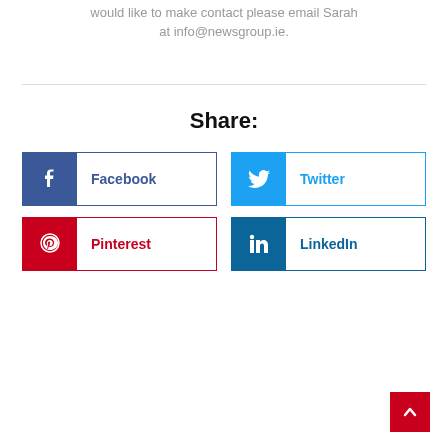would like to make contact please email Sarah at info@newsgroup.ie.
Share:
Facebook
Twitter
Pinterest
LinkedIn